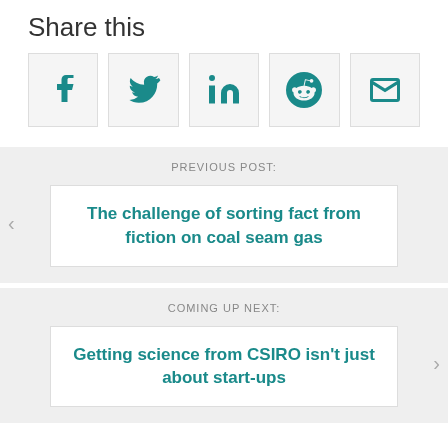Share this
[Figure (infographic): Social sharing icons: Facebook, Twitter, LinkedIn, Reddit, Email — each in a light grey bordered square box, teal colored icons]
PREVIOUS POST:
The challenge of sorting fact from fiction on coal seam gas
COMING UP NEXT:
Getting science from CSIRO isn't just about start-ups
1 comments